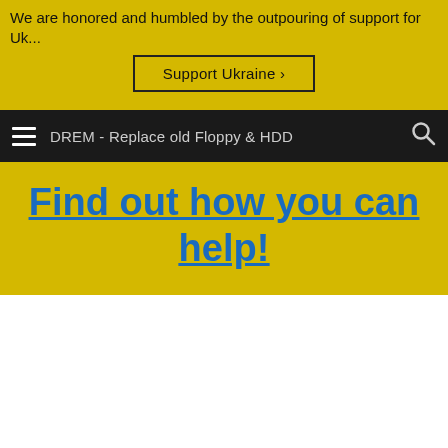We are honored and humbled by the outpouring of support for Uk...
Support Ukraine ›
DREM - Replace old Floppy & HDD
Find out how you can help!